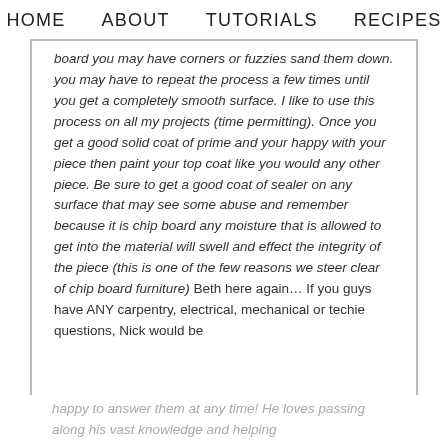HOME   ABOUT   TUTORIALS   RECIPES
board you may have corners or fuzzies sand them down. you may have to repeat the process a few times until you get a completely smooth surface. I like to use this process on all my projects (time permitting). Once you get a good solid coat of prime and your happy with your piece then paint your top coat like you would any other piece. Be sure to get a good coat of sealer on any surface that may see some abuse and remember because it is chip board any moisture that is allowed to get into the material will swell and effect the integrity of the piece (this is one of the few reasons we steer clear of chip board furniture) Beth here again… If you guys have ANY carpentry, electrical, mechanical or techie questions, Nick would be
happy to answer them at any time! He loves passing along his vast knowledge and helping